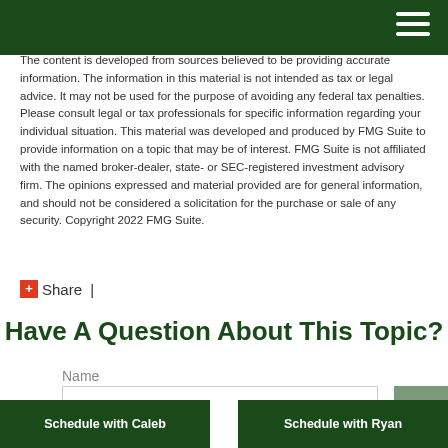[Dark green header bar with hamburger menu icon]
The content is developed from sources believed to be providing accurate information. The information in this material is not intended as tax or legal advice. It may not be used for the purpose of avoiding any federal tax penalties. Please consult legal or tax professionals for specific information regarding your individual situation. This material was developed and produced by FMG Suite to provide information on a topic that may be of interest. FMG Suite is not affiliated with the named broker-dealer, state- or SEC-registered investment advisory firm. The opinions expressed and material provided are for general information, and should not be considered a solicitation for the purchase or sale of any security. Copyright 2022 FMG Suite.
+ Share  |
Have A Question About This Topic?
Name
Schedule with Caleb | Schedule with Ryan